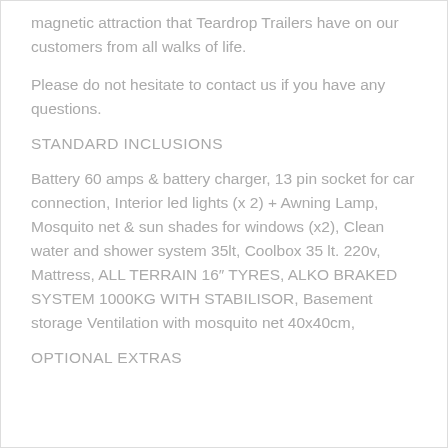magnetic attraction that Teardrop Trailers have on our customers from all walks of life.
Please do not hesitate to contact us if you have any questions.
STANDARD INCLUSIONS
Battery 60 amps & battery charger, 13 pin socket for car connection, Interior led lights (x 2) + Awning Lamp, Mosquito net & sun shades for windows (x2), Clean water and shower system 35lt, Coolbox 35 lt. 220v, Mattress, ALL TERRAIN 16″ TYRES, ALKO BRAKED SYSTEM 1000KG WITH STABILISOR, Basement storage Ventilation with mosquito net 40x40cm,
OPTIONAL EXTRAS